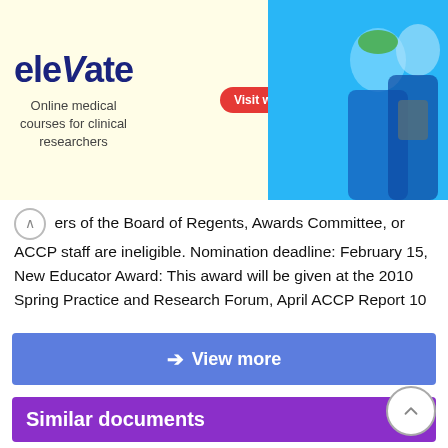[Figure (other): Advertisement banner for 'elevate' online medical courses for clinical researchers with a 'Visit website' button and photo of medical professionals]
ers of the Board of Regents, Awards Committee, or ACCP staff are ineligible. Nomination deadline: February 15, New Educator Award: This award will be given at the 2010 Spring Practice and Research Forum, April ACCP Report 10
View more
Similar documents